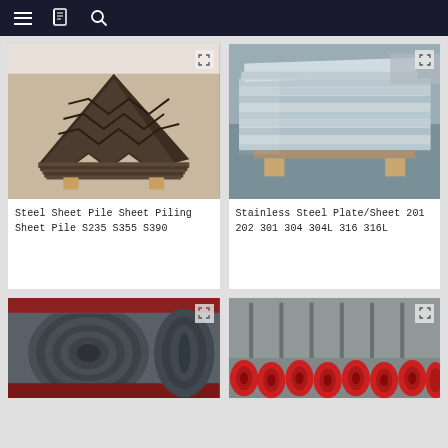Navigation bar with menu, catalog, and search icons
[Figure (photo): Stack of steel sheet piles (Z-profile) in dark metal color on wooden supports]
Steel Sheet Pile Sheet Piling Sheet Pile S235 S355 S390
[Figure (photo): Stainless steel plates/sheets stacked in a warehouse]
Stainless Steel Plate/Sheet 201 202 301 304 304L 316 316L
[Figure (photo): Large steel coil rolls in a factory setting]
[Figure (photo): Red painted steel coil rolls in a warehouse]